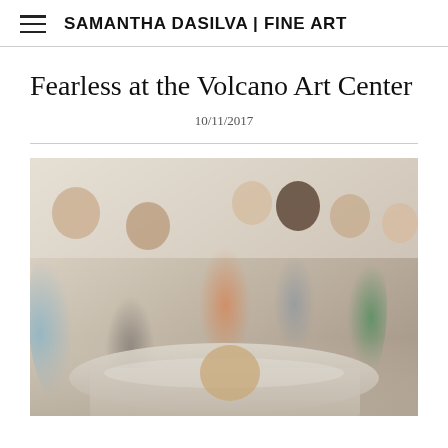SAMANTHA DASILVA | FINE ART
Fearless at the Volcano Art Center
10/11/2017
[Figure (photo): Group of people gathered around a table in an art workshop setting. Several participants in casual clothing and aprons are looking at materials on the table. The instructor appears to be demonstrating something. The setting appears to be an art studio or classroom.]